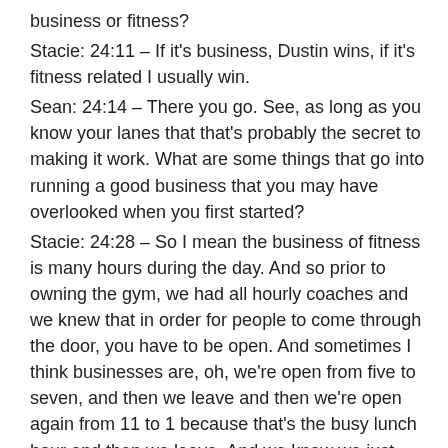business or fitness?
Stacie: 24:11 – If it's business, Dustin wins, if it's fitness related I usually win.
Sean: 24:14 – There you go. See, as long as you know your lanes that that's probably the secret to making it work. What are some things that go into running a good business that you may have overlooked when you first started?
Stacie: 24:28 – So I mean the business of fitness is many hours during the day. And so prior to owning the gym, we had all hourly coaches and we knew that in order for people to come through the door, you have to be open. And sometimes I think businesses are, oh, we're open from five to seven, and then we leave and then we're open again from 11 to 1 because that's the busy lunch hour and then we leave. And we knew we just couldn't run a